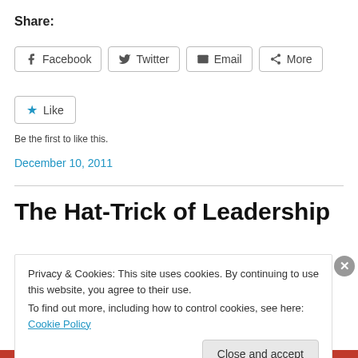Share:
Facebook  Twitter  Email  More
Like
Be the first to like this.
December 10, 2011
The Hat-Trick of Leadership
Privacy & Cookies: This site uses cookies. By continuing to use this website, you agree to their use.
To find out more, including how to control cookies, see here: Cookie Policy
Close and accept